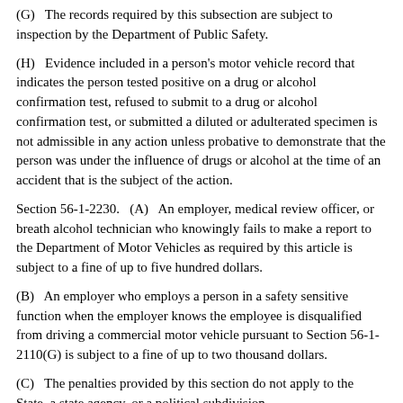(G)   The records required by this subsection are subject to inspection by the Department of Public Safety.
(H)   Evidence included in a person's motor vehicle record that indicates the person tested positive on a drug or alcohol confirmation test, refused to submit to a drug or alcohol confirmation test, or submitted a diluted or adulterated specimen is not admissible in any action unless probative to demonstrate that the person was under the influence of drugs or alcohol at the time of an accident that is the subject of the action.
Section 56-1-2230.   (A)   An employer, medical review officer, or breath alcohol technician who knowingly fails to make a report to the Department of Motor Vehicles as required by this article is subject to a fine of up to five hundred dollars.
(B)   An employer who employs a person in a safety sensitive function when the employer knows the employee is disqualified from driving a commercial motor vehicle pursuant to Section 56-1-2110(G) is subject to a fine of up to two thousand dollars.
(C)   The penalties provided by this section do not apply to the State, a state agency, or a political subdivision.
(D)   Any person or entity is immune from liability for the good